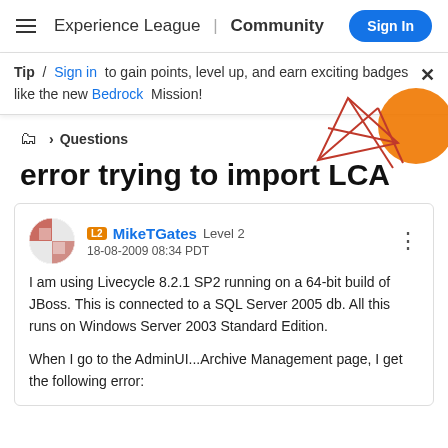Experience League | Community   Sign In
Tip / Sign in to gain points, level up, and earn exciting badges like the new Bedrock Mission!
🗂 > Questions
error trying to import LCA
MikeTGates Level 2
18-08-2009 08:34 PDT
I am using Livecycle 8.2.1 SP2 running on a 64-bit build of JBoss. This is connected to a SQL Server 2005 db. All this runs on Windows Server 2003 Standard Edition.

When I go to the AdminUI...Archive Management page, I get the following error: